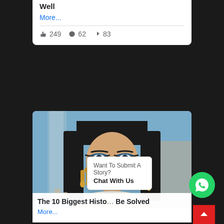Well
More...
249  62  83
[Figure (photo): Woman dressed as Cleopatra with black braided hair, gold accessories, and blue eye makeup — movie still]
The 10 Biggest Histo... Be Solved
More...
Want To Submit A Story? Chat With Us